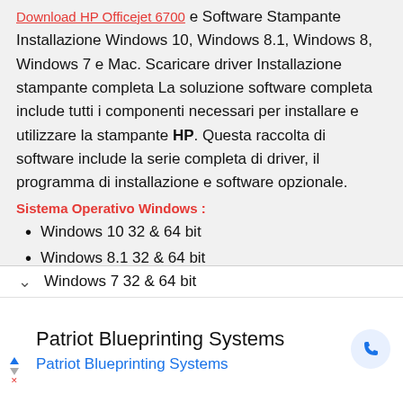Download HP Officejet 6700 e Software Stampante Installazione Windows 10, Windows 8.1, Windows 8, Windows 7 e Mac. Scaricare driver Installazione stampante completa La soluzione software completa include tutti i componenti necessari per installare e utilizzare la stampante HP. Questa raccolta di software include la serie completa di driver, il programma di installazione e software opzionale.
Sistema Operativo Windows :
Windows 10 32 & 64 bit
Windows 8.1 32 & 64 bit
Windows 8 32 & 64 bit
Windows 7 32 & 64 bit
Patriot Blueprinting Systems
Patriot Blueprinting Systems